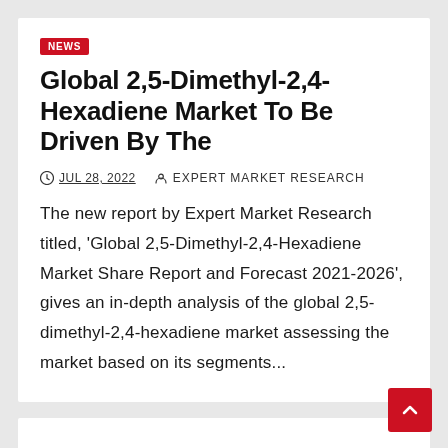NEWS
Global 2,5-Dimethyl-2,4-Hexadiene Market To Be Driven By The
JUL 28, 2022   EXPERT MARKET RESEARCH
The new report by Expert Market Research titled, ‘Global 2,5-Dimethyl-2,4-Hexadiene Market Share Report and Forecast 2021-2026’, gives an in-depth analysis of the global 2,5-dimethyl-2,4-hexadiene market assessing the market based on its segments...